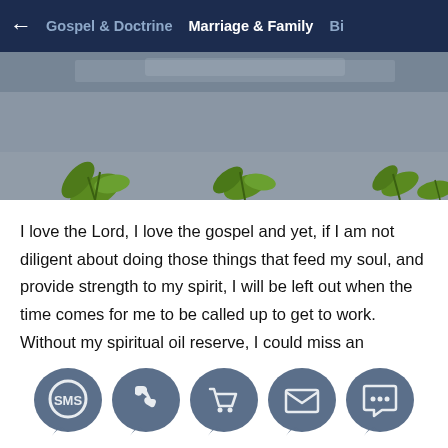← Gospel & Doctrine  Marriage & Family  Bi
[Figure (photo): Photo of green plants/leaves growing against a grey concrete or stone wall background]
I love the Lord, I love the gospel and yet, if I am not diligent about doing those things that feed my soul, and provide strength to my spirit, I will be left out when the time comes for me to be called up to get to work. Without my spiritual oil reserve, I could miss an important truth, a prompting regarding someone who needs my help, an answer or I could fail to hav... in... d... g...
[Figure (infographic): Row of five social media / contact icon bubbles in dark blue-grey: SMS bubble, phone/call, shopping cart, email/envelope, and chat/messaging icons]